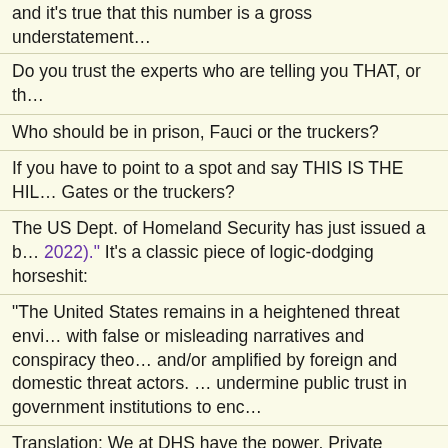and it's true that this number is a gross understatement...
Do you trust the experts who are telling you THAT, or th…
Who should be in prison, Fauci or the truckers?
If you have to point to a spot and say THIS IS THE HIL… Gates or the truckers?
The US Dept. of Homeland Security has just issued a b… 2022)." It's a classic piece of logic-dodging horseshit:
"The United States remains in a heightened threat envi… with false or misleading narratives and conspiracy theo… and/or amplified by foreign and domestic threat actors. … undermine public trust in government institutions to enc…
Translation: We at DHS have the power. Private citizen… silence them and call them terrorists. When we say "the… joke. If we weren't the government, we wouldn't trust th…
Do you rely on DHS Jokers or the truckers?